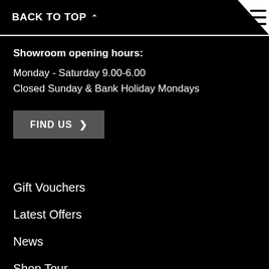BACK TO TOP ∧
Showroom opening hours:
Monday - Saturday 9.00-6.00
Closed Sunday & Bank Holiday Mondays
FIND US ›
Gift Vouchers
Latest Offers
News
Shop Tour
Meet the Team
Motorcycle Training